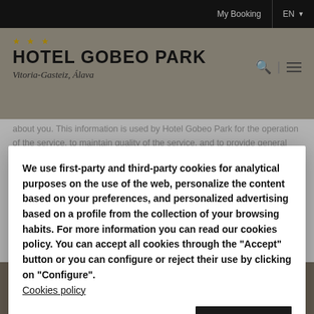My Booking | EN
HOTEL GOBEO PARK
Vitoria-Gasteiz, Álava
We use first-party and third-party cookies for analytical purposes on the use of the web, personalize the content based on your preferences, and personalized advertising based on a profile from the collection of your browsing habits. For more information you can read our cookies policy. You can accept all cookies through the "Accept" button or you can configure or reject their use by clicking on "Configure". Cookies policy
Configure
ACCEPT
Hotel Gobeo Park encourages you to review the privacy statements of Web sites you choose to link to from Hotel
BOOK NOW